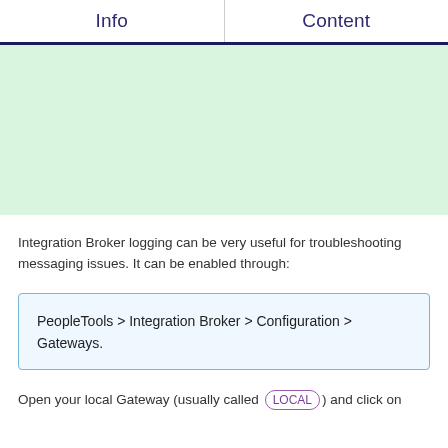Info	Content
[Figure (other): Green background content area placeholder]
Integration Broker logging can be very useful for troubleshooting messaging issues. It can be enabled through:
PeopleTools > Integration Broker > Configuration > Gateways.
Open your local Gateway (usually called LOCAL) and click on